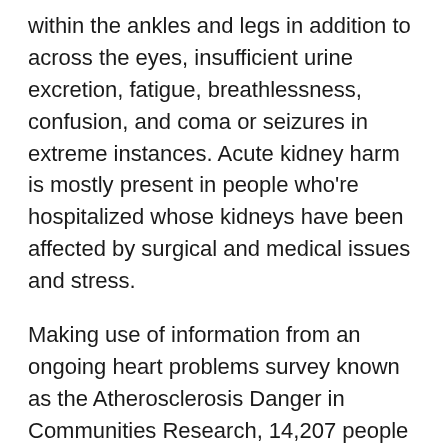within the ankles and legs in addition to across the eyes, insufficient urine excretion, fatigue, breathlessness, confusion, and coma or seizures in extreme instances. Acute kidney harm is mostly present in people who're hospitalized whose kidneys have been affected by surgical and medical issues and stress.
Making use of information from an ongoing heart problems survey known as the Atherosclerosis Danger in Communities Research, 14,207 people with a mean age of 54 have been assessed. They have been surveyed 7 occasions over 24 years concerning what number of 8-ounce cups of espresso every particular person drank in a day: zero, 1, 2 to three, or greater than 3. A complete of 1,694 acute kidney harm instances have been documented all through the survey interval.